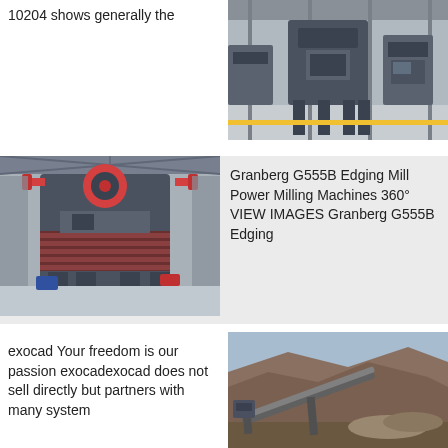10204 shows generally the
[Figure (photo): Industrial milling machine in a factory setting, several tall press machines visible]
[Figure (photo): Granberg G555B Edging Mill machine in industrial facility, large multi-level machine with red and grey components]
Granberg G555B Edging Mill Power Milling Machines 360° VIEW IMAGES Granberg G555B Edging
exocad Your freedom is our passion exocadexocad does not sell directly but partners with many system
[Figure (photo): Outdoor quarry or mining site with conveyor belt equipment and rocky hillside]